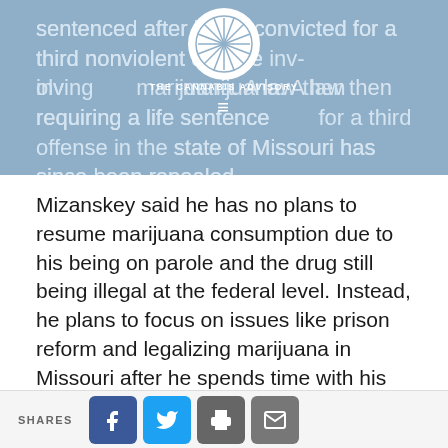THE CANNABIS ADVISORY
sentenced after being convicted for a third nonviolent offense involving marijuana. A law then requiring a life sentence for a third offense in the state of Missouri has since been repealed.
Mizanskey said he has no plans to resume marijuana consumption due to his being on parole and the drug still being illegal at the federal level. Instead, he plans to focus on issues like prison reform and legalizing marijuana in Missouri after he spends time with his family, including his son Chris who had not seen his father since he was a teenager.
SHARES